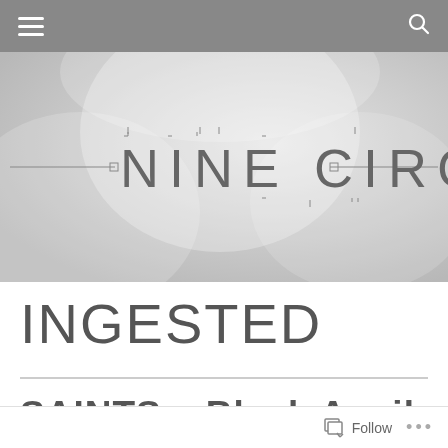Navigation bar with hamburger menu and search icon
[Figure (logo): Nine Circles website logo — decorative text reading '—NINE CIRCLES—' with stylized letterforms and connecting lines, on a light grey abstract background]
INGESTED
SAINTS – Black Anvil (partially visible, cut off at bottom)
Follow  ...